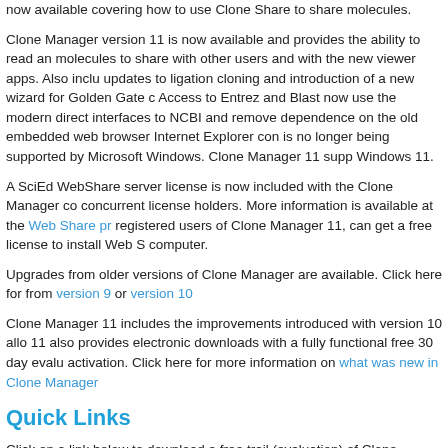now available covering how to use Clone Share to share molecules.
Clone Manager version 11 is now available and provides the ability to read and molecules to share with other users and with the new viewer apps. Also includes updates to ligation cloning and introduction of a new wizard for Golden Gate cloning. Access to Entrez and Blast now use the modern direct interfaces to NCBI and remove dependence on the old embedded web browser Internet Explorer component that is no longer being supported by Microsoft Windows. Clone Manager 11 supports Windows 11.
A SciEd WebShare server license is now included with the Clone Manager concurrent license holders. More information is available at the Web Share product page. registered users of Clone Manager 11, can get a free license to install Web Share on their computer.
Upgrades from older versions of Clone Manager are available. Click here for upgrades from version 9 or version 10
Clone Manager 11 includes the improvements introduced with version 10 along with 11 also provides electronic downloads with a fully functional free 30 day evaluation with activation. Click here for more information on what was new in Clone Manager 10.
Quick Links
Click on a link below to download a free trail (evaluation) of Clone Manager 11 or purchase a license now.
Or click the Training link to access a list of tutorials or training videos you can use to learn Clone Manager 11 effectively. Experienced Clone Manager users may find something new.